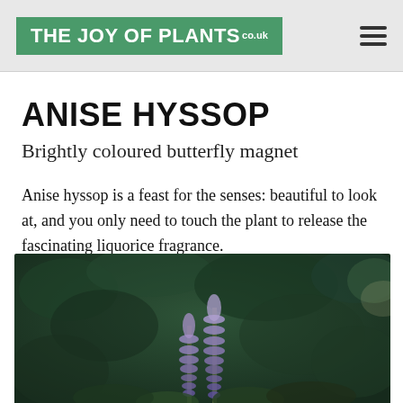THE JOY OF PLANTS .co.uk
ANISE HYSSOP
Brightly coloured butterfly magnet
Anise hyssop is a feast for the senses: beautiful to look at, and you only need to touch the plant to release the fascinating liquorice fragrance.
[Figure (photo): Photo of anise hyssop plant with purple flower spikes against a dark green foliage background]